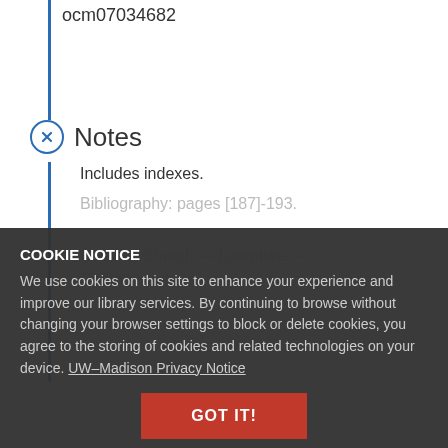ocm07034682
Notes
Includes indexes.
Bibliography: pages [187]-193.
Catholic Church — Literature — Catholic authors.
COOKIE NOTICE
We use cookies on this site to enhance your experience and improve our library services. By continuing to browse without changing your browser settings to block or delete cookies, you agree to the storing of cookies and related technologies on your device. UW–Madison Privacy Notice
GOT IT!